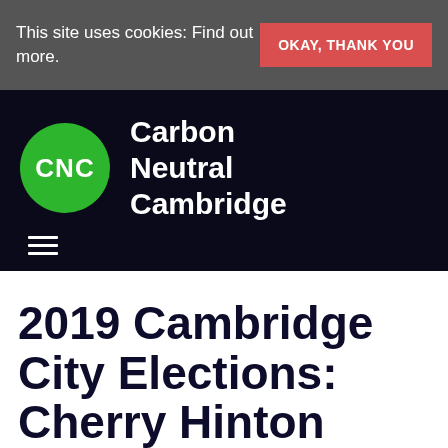This site uses cookies: Find out more.
OKAY, THANK YOU
[Figure (logo): Carbon Neutral Cambridge logo: green circle with white text CNC, next to white bold text reading Carbon Neutral Cambridge, on black background, with hamburger menu icon below]
2019 Cambridge City Elections: Cherry Hinton Ward